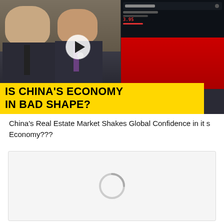[Figure (screenshot): YouTube video thumbnail showing two men in suits with a yellow banner reading 'IS CHINA'S ECONOMY IN BAD SHAPE?' and a stock chart in the top right corner]
China's Real Estate Market Shakes Global Confidence in its Economy???
[Figure (screenshot): Second embedded video or content card, mostly blank/loading with a circular icon]